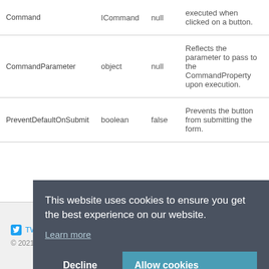|  |  |  |  |
| --- | --- | --- | --- |
| Command | ICommand | null | executed when clicked on a button. |
| CommandParameter | object | null | Reflects the parameter to pass to the CommandProperty upon execution. |
| PreventDefaultOnSubmit | boolean | false | Prevents the button from submitting the form. |
TW
© 2021
This website uses cookies to ensure you get the best experience on our website. Learn more
Decline
Allow cookies